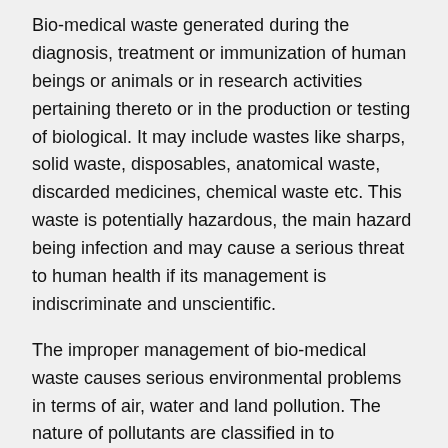Bio-medical waste generated during the diagnosis, treatment or immunization of human beings or animals or in research activities pertaining thereto or in the production or testing of biological. It may include wastes like sharps, solid waste, disposables, anatomical waste, discarded medicines, chemical waste etc. This waste is potentially hazardous, the main hazard being infection and may cause a serious threat to human health if its management is indiscriminate and unscientific.
The improper management of bio-medical waste causes serious environmental problems in terms of air, water and land pollution. The nature of pollutants are classified in to biological, chemical and radioactive
Pathogens present in the waste can enter and remain in the air in an institution, or any health care unit for a long period in the form of spores or as